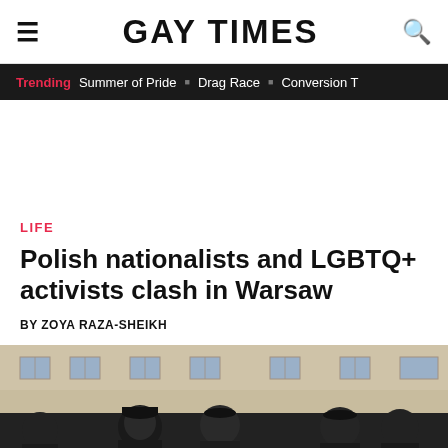GAY TIMES
Trending  Summer of Pride  Drag Race  Conversion T
LIFE
Polish nationalists and LGBTQ+ activists clash in Warsaw
BY ZOYA RAZA-SHEIKH
[Figure (photo): A group of people dressed in black, some wearing face masks and caps, standing in front of a historic building facade in Warsaw, Poland.]